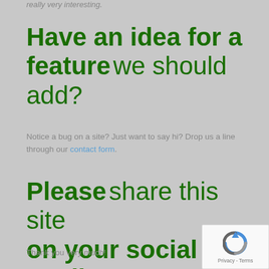really very interesting.
Have an idea for a feature we should add?
Notice a bug on a site? Just want to say hi? Drop us a line through our contact form.
Please share this site on your social media and spread the word!
Thank you very much!
[Figure (logo): reCAPTCHA logo with Privacy and Terms text]